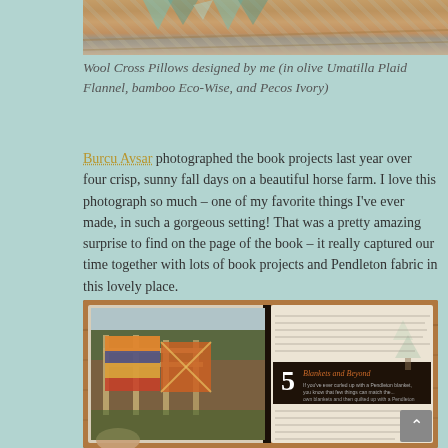[Figure (photo): Top portion of a photo showing quilts/fabric with geometric patterns on a wooden surface, partially cropped]
Wool Cross Pillows designed by me (in olive Umatilla Plaid Flannel, bamboo Eco-Wise, and Pecos Ivory)
Burcu Avsar photographed the book projects last year over four crisp, sunny fall days on a beautiful horse farm. I love this photograph so much – one of my favorite things I've ever made, in such a gorgeous setting! That was a pretty amazing surprise to find on the page of the book – it really captured our time together with lots of book projects and Pendleton fabric in this lovely place.
[Figure (photo): Open book showing interior pages: left page has colorful quilts/blankets draped on a fence on a horse farm; right page shows chapter 5 titled 'Blankets and Beyond' with text and decorative design]